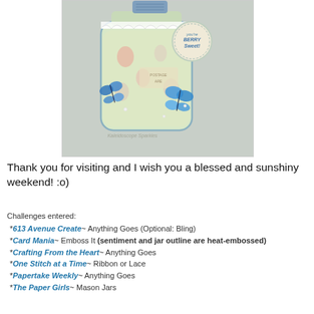[Figure (photo): A decorative handmade card or tag featuring a mason jar design with strawberry patterned paper, blue butterflies, lace, denim ribbon, and a circular tag reading 'you're berry sweet!']
Thank you for visiting and I wish you a blessed and sunshiny weekend! :o)
Challenges entered:
*613 Avenue Create~ Anything Goes (Optional: Bling)
*Card Mania~ Emboss It (sentiment and jar outline are heat-embossed)
*Crafting From the Heart~ Anything Goes
*One Stitch at a Time~ Ribbon or Lace
*Papertake Weekly~ Anything Goes
*The Paper Girls~ Mason Jars